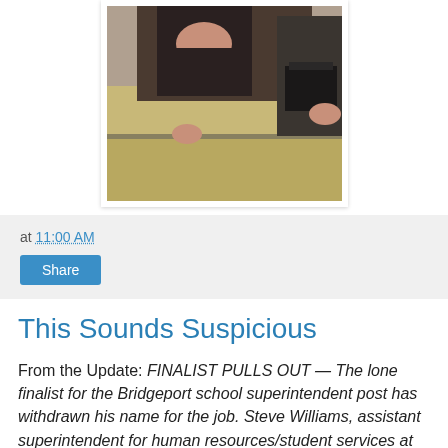[Figure (photo): A woman in a dark outfit leaning out of or standing next to a gold/tan car door, photographed close up. Another person holding a black bag is visible on the right side.]
at 11:00 AM
Share
This Sounds Suspicious
From the Update: FINALIST PULLS OUT — The lone finalist for the Bridgeport school superintendent post has withdrawn his name for the job. Steve Williams, assistant superintendent for human resources/student services at Eagle Mountain-Saginaw school district, withdrew his name